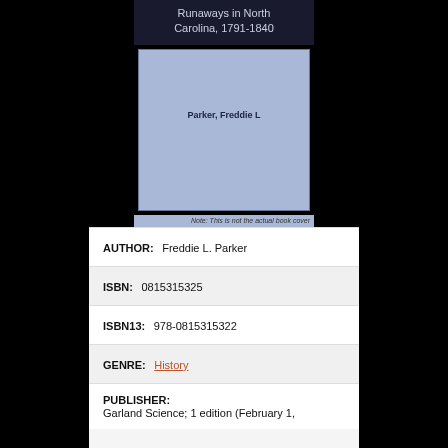[Figure (illustration): Book cover placeholder showing title 'Runaways in North Carolina, 1791-1840' with author name 'Parker, Freddie L' on a light blue background. Note at bottom: 'Note: This is not the actual book cover']
AUTHOR:  Freddie L. Parker
ISBN:  0815315325
ISBN13:  978-0815315322
GENRE:  History
PUBLISHER:
Garland Science; 1 edition (February 1,